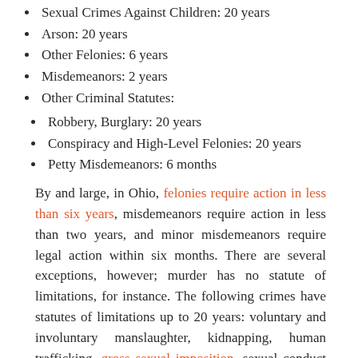Sexual Crimes Against Children: 20 years
Arson: 20 years
Other Felonies: 6 years
Misdemeanors: 2 years
Other Criminal Statutes:
Robbery, Burglary: 20 years
Conspiracy and High-Level Felonies: 20 years
Petty Misdemeanors: 6 months
By and large, in Ohio, felonies require action in less than six years, misdemeanors require action in less than two years, and minor misdemeanors require legal action within six months. There are several exceptions, however; murder has no statute of limitations, for instance. The following crimes have statutes of limitations up to 20 years: voluntary and involuntary manslaughter, kidnapping, human trafficking, gross sexual imposition, sexual conduct with a minor, compelling prostitution, aggravated arson, terrorism,